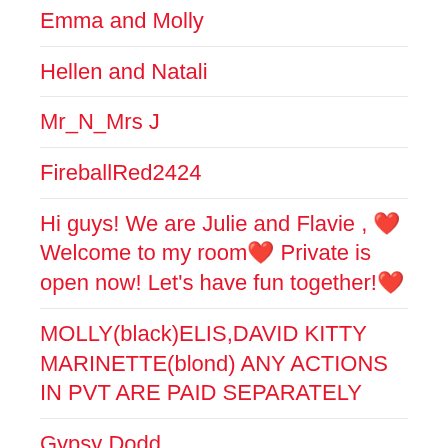Emma and Molly
Hellen and Natali
Mr_N_Mrs J
FireballRed2424
Hi guys! We are Julie and Flavie , ❤Welcome to my room❤ Private is open now! Let's have fun together!❤
MOLLY(black)ELIS,DAVID KITTY MARINETTE(blond) ANY ACTIONS IN PVT ARE PAID SEPARATELY
Gypsy Dodd
Tarina & Federico
🔥. lilyandjhon_🔥
Peach